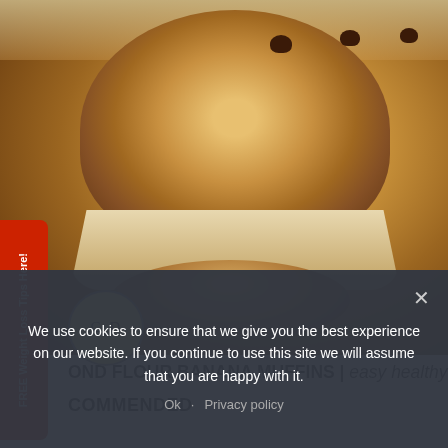[Figure (photo): Close-up photo of chocolate chip banana muffins stacked, with one muffin torn open showing interior texture, in paper baking cups]
FREE Weight Loss Tips Here!
OND FLOUR BANANA MUFFINS | easy healthy recipe
COMMENDED
We use cookies to ensure that we give you the best experience on our website. If you continue to use this site we will assume that you are happy with it.
Ok   Privacy policy